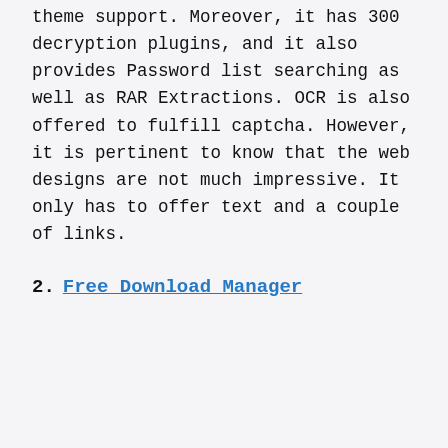theme support. Moreover, it has 300 decryption plugins, and it also provides Password list searching as well as RAR Extractions. OCR is also offered to fulfill captcha. However, it is pertinent to know that the web designs are not much impressive. It only has to offer text and a couple of links.
2. Free Download Manager